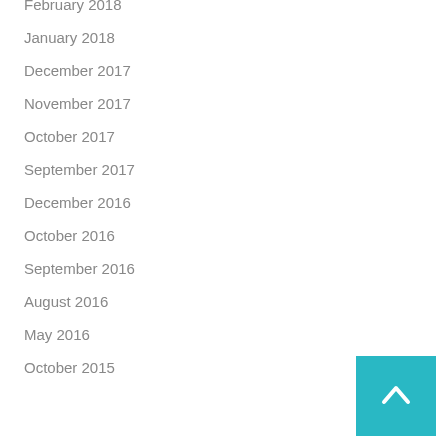February 2018
January 2018
December 2017
November 2017
October 2017
September 2017
December 2016
October 2016
September 2016
August 2016
May 2016
October 2015